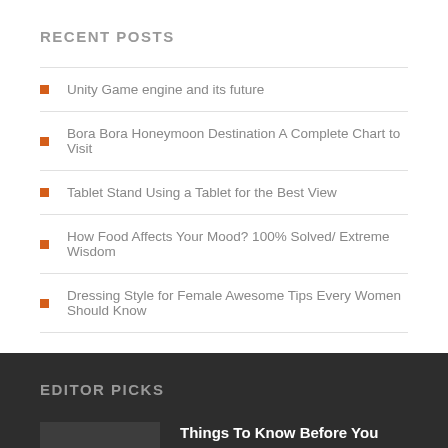RECENT POSTS
Unity Game engine and its future
Bora Bora Honeymoon Destination A Complete Chart to Visit
Tablet Stand Using a Tablet for the Best View
How Food Affects Your Mood? 100% Solved/ Extreme Wisdom
Dressing Style for Female Awesome Tips Every Women Should Know
EDITOR PICKS
Things To Know Before You Buy Italian Pasta Online